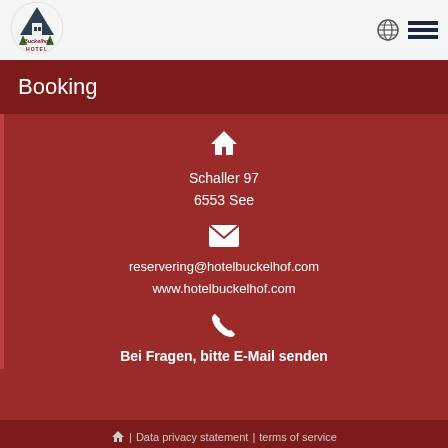[Figure (logo): Hotel Buckelhof logo with mountain/building icon and text]
Booking
Schaller 97
6553 See
reservering@hotelbuckelhof.com
www.hotelbuckelhof.com
Bei Fragen, bitte E-Mail senden
| Data privacy statement | terms of service
© Copyright 2022 - Hotel Buckelhof · 0.02 s
CLOUDROOMS